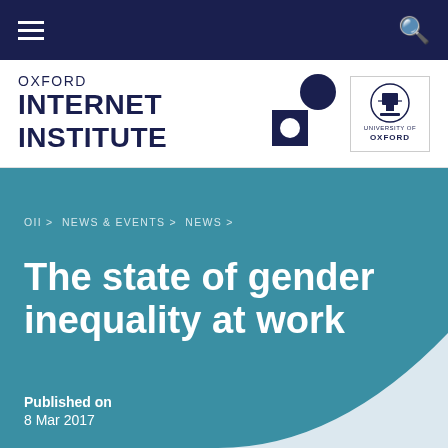Oxford Internet Institute navigation bar
[Figure (logo): Oxford Internet Institute logo with OII graphic and University of Oxford crest]
OII > NEWS & EVENTS > NEWS >
The state of gender inequality at work
Published on 8 Mar 2017